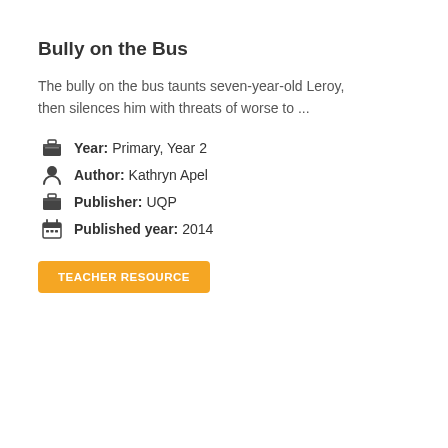Bully on the Bus
The bully on the bus taunts seven-year-old Leroy, then silences him with threats of worse to ...
Year: Primary, Year 2
Author: Kathryn Apel
Publisher: UQP
Published year: 2014
TEACHER RESOURCE